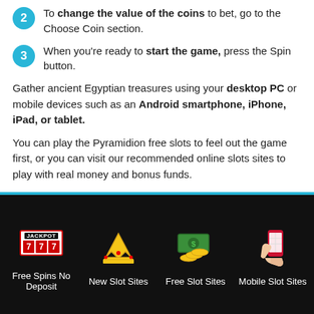2 To change the value of the coins to bet, go to the Choose Coin section.
3 When you're ready to start the game, press the Spin button.
Gather ancient Egyptian treasures using your desktop PC or mobile devices such as an Android smartphone, iPhone, iPad, or tablet.
You can play the Pyramidion free slots to feel out the game first, or you can visit our recommended online slots sites to play with real money and bonus funds.
Note that game restrictions apply and you might have to undergo age verification first before being allowed to play IGT games.
Free Spins No Deposit | New Slot Sites | Free Slot Sites | Mobile Slot Sites